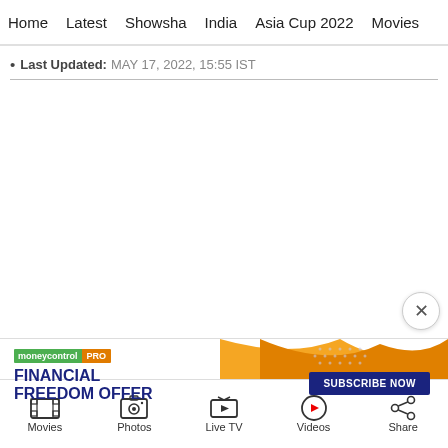Home  Latest  Showsha  India  Asia Cup 2022  Movies
• Last Updated: MAY 17, 2022, 15:55 IST
[Figure (screenshot): White empty content area with a close (X) button in the bottom-right corner]
[Figure (screenshot): Moneycontrol PRO advertisement banner: FINANCIAL FREEDOM OFFER with SUBSCRIBE NOW button, orange and blue gradient design]
Movies  Photos  Live TV  Videos  Share